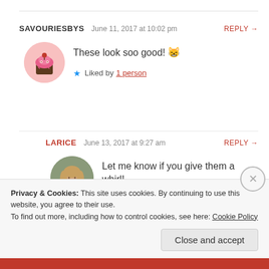SAVOURIESBYS  June 11, 2017 at 10:02 pm  REPLY →
[Figure (illustration): Circular avatar with pink background showing a cartoon cupcake icon]
These look soo good! 😸
★ Liked by 1 person
LARICE  June 13, 2017 at 9:27 am  REPLY →
[Figure (photo): Circular avatar showing a woman with long hair in a light blue off-shoulder top]
Let me know if you give them a whirl! 🙂
Privacy & Cookies: This site uses cookies. By continuing to use this website, you agree to their use.
To find out more, including how to control cookies, see here: Cookie Policy
Close and accept